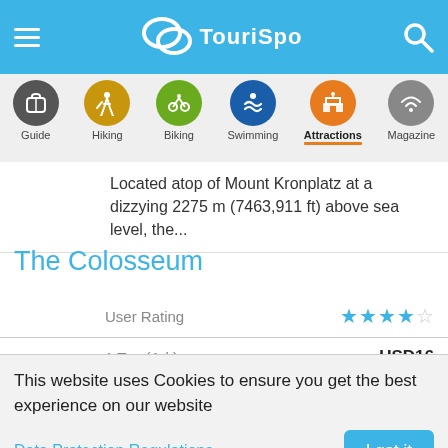TouriSpo
[Figure (screenshot): Navigation bar with icons: Guide (luggage), Hiking (hiker), Biking (cyclist), Swimming (swimmer), Attractions (building, active/selected), Magazine (wifi-like icon)]
Located atop of Mount Kronplatz at a dizzying 2275 m (7463,911 ft) above sea level, the...
The Colosseum
|  |  |
| --- | --- |
| User Rating | ★★★½☆ |
| 1 Tag (Ad.) | USD16 |
| 1 Tag (Child) | Free |
| The Colosseum (Latin: Amphitheatrum |  |
This website uses Cookies to ensure you get the best experience on our website
Data Protection Regulations
I got it